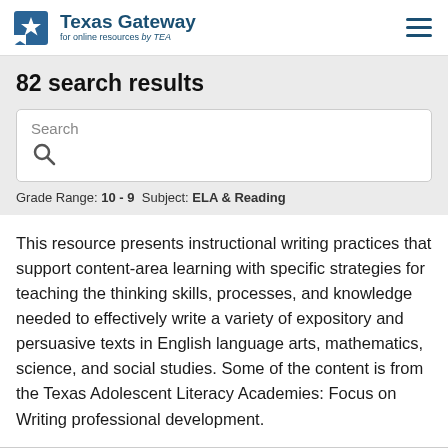Texas Gateway for online resources by TEA
82 search results
Search
Grade Range: 10 - 9  Subject: ELA & Reading
This resource presents instructional writing practices that support content-area learning with specific strategies for teaching the thinking skills, processes, and knowledge needed to effectively write a variety of expository and persuasive texts in English language arts, mathematics, science, and social studies. Some of the content is from the Texas Adolescent Literacy Academies: Focus on Writing professional development.